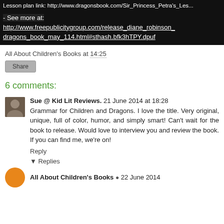Lesson plan link: http://www.dragonsbook.com/Sir_Princess_Petra's_Les...
- See more at: http://www.freepublicitygroup.com/release_diane_robinson_dragons_book_may_114.html#sthash.bfk3hTPY.dpuf
All About Children's Books at 14:25
Share
6 comments:
Sue @ Kid Lit Reviews. 21 June 2014 at 18:28
Grammar for Children and Dragons. I love the title. Very original, unique, full of color, humor, and simply smart! Can't wait for the book to release. Would love to interview you and review the book. If you can find me, we're on!
Reply
Replies
All About Children's Books  22 June 2014